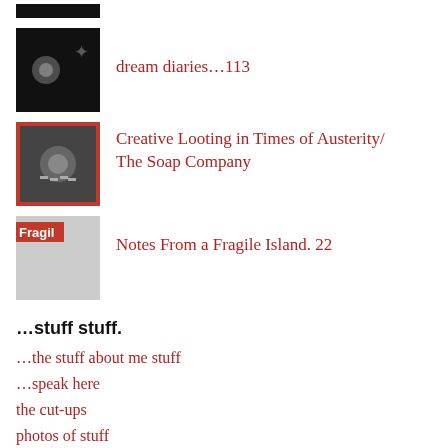[Figure (photo): Dark thumbnail image partially visible at top]
dream diaries…113
[Figure (photo): Thumbnail with red border showing soap/screws image]
Creative Looting in Times of Austerity/ The Soap Company
[Figure (photo): Thumbnail with Fragile label text]
Notes From a Fragile Island. 22
…stuff stuff.
…the stuff about me stuff
…speak here
the cut-ups
photos of stuff
the to-do lists
pushing paint